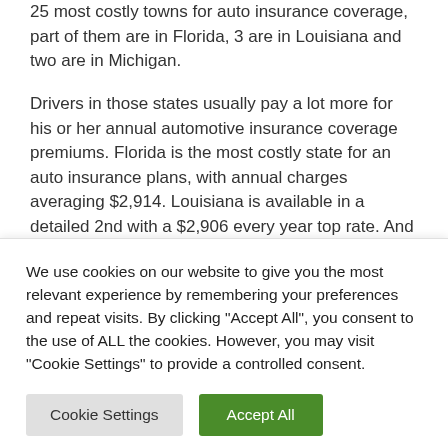25 most costly towns for auto insurance coverage, part of them are in Florida, 3 are in Louisiana and two are in Michigan.
Drivers in those states usually pay a lot more for his or her annual automotive insurance coverage premiums. Florida is the most costly state for an auto insurance plans, with annual charges averaging $2,914. Louisiana is available in a detailed 2nd with a $2,906 every year top rate. And Michigan is 3rd — drivers right here pay $2,377 in insurance with 12 months for automotive insurance coverage
We use cookies on our website to give you the most relevant experience by remembering your preferences and repeat visits. By clicking "Accept All", you consent to the use of ALL the cookies. However, you may visit "Cookie Settings" to provide a controlled consent.